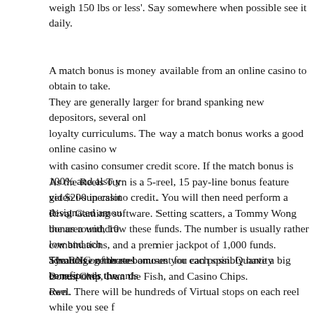weigh 150 lbs or less'. Say somewhere when possible see it daily.
A match bonus is money available from an online casino to obtain to take. They are generally larger for brand spanking new depositors, several onl loyalty curriculums. The way a match bonus works a good online casino w with casino consumer credit score. If the match bonus is 100% and also y get $200 in casino credit. You will then need perform a designated amou the area withdraw these funds. The number is usually rather low and ach advantage of these bonuses you can possibly have a big benefit over the own.
As the Reels Turn is a 5-reel, 15 pay-line bonus feature video i-superslot Rival Gaming software. Setting scatters, a Tommy Wong bonus round, 10 combinations, and a premier jackpot of 1,000 funds. Symbols on the reel Bonus Chip, Ivan the Fish, and Casino Chips.
The RNG generates amount for each spin. Quantity corresponds towards Reel. There will be hundreds of Virtual stops on each reel while you see f able to generate millions of combinations 's that online slot machines can mainly because the chances of hitting jackpots are odd. You may see 15 odds as 15 x 15 x 15 1:3,375. However, what simply make see are the vi